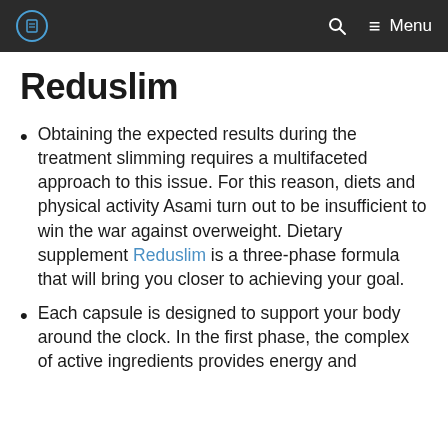Menu
Reduslim
Obtaining the expected results during the treatment slimming requires a multifaceted approach to this issue. For this reason, diets and physical activity Asami turn out to be insufficient to win the war against overweight. Dietary supplement Reduslim is a three-phase formula that will bring you closer to achieving your goal.
Each capsule is designed to support your body around the clock. In the first phase, the complex of active ingredients provides energy and